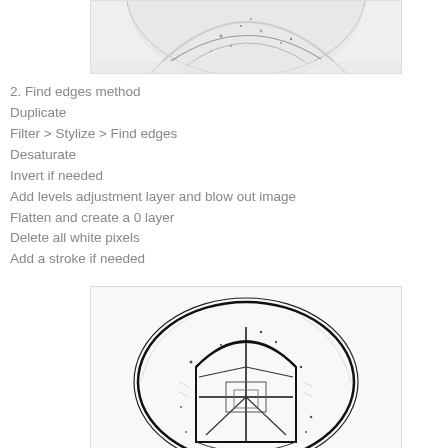[Figure (photo): Partial view of an engraved or stamped coin/seal showing detailed texture at the top of the page]
2. Find edges method
Duplicate
Filter > Stylize > Find edges
Desaturate
Invert if needed
Add levels adjustment layer and blow out image
Flatten and create a 0 layer
Delete all white pixels
Add a stroke if needed
[Figure (photo): Black and white line-art style image of a decorative coin or seal showing an arched window design, likely processed with the Find Edges method described in the text]